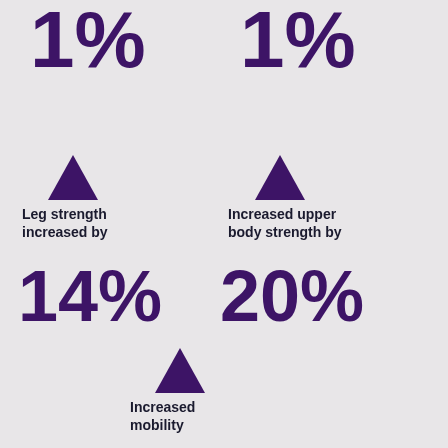[Figure (infographic): Health/fitness infographic showing strength and mobility improvements. Two columns at top with '1%' in large purple text. Middle section shows upward arrows with labels: 'Leg strength increased by 14%' on left, 'Increased upper body strength by 20%' on right. Bottom center shows upward arrow with 'Increased mobility' label and partially visible percentage.]
1%
1%
Leg strength increased by
14%
Increased upper body strength by
20%
Increased mobility